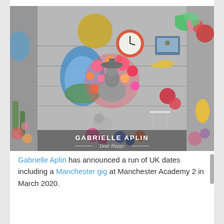[Figure (photo): Album cover for Gabrielle Aplin's 'Dear Happy' — a colorful collage over a black-and-white photograph of a woman seated outdoors, surrounded by vibrant flowers, a clock, food, a television, cacti, a yellow stuffed animal, and other decorative elements. The text 'GABRIELLE APLIN — Dear Happy —' appears at the bottom of the cover.]
Gabrielle Aplin has announced a run of UK dates including a Manchester gig at Manchester Academy 2 in March 2020.